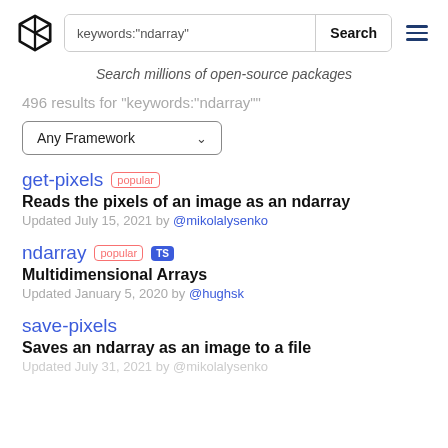keywords:"ndarray" Search
Search millions of open-source packages
496 results for "keywords:"ndarray""
Any Framework
get-pixels popular
Reads the pixels of an image as an ndarray
Updated July 15, 2021 by @mikolalysenko
ndarray popular TS
Multidimensional Arrays
Updated January 5, 2020 by @hughsk
save-pixels
Saves an ndarray as an image to a file
Updated July 31, 2021 by @mikolalysenko